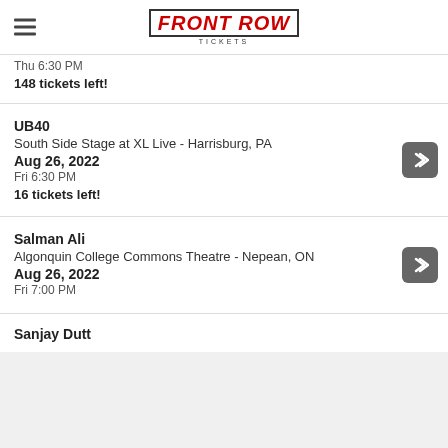Front Row Tickets
Thu 6:30 PM
148 tickets left!
UB40
South Side Stage at XL Live - Harrisburg, PA
Aug 26, 2022
Fri 6:30 PM
16 tickets left!
Salman Ali
Algonquin College Commons Theatre - Nepean, ON
Aug 26, 2022
Fri 7:00 PM
Sanjay Dutt